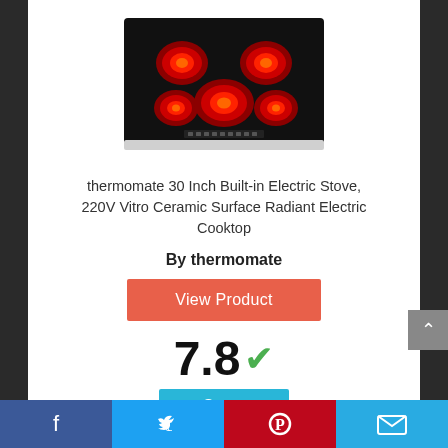[Figure (photo): Photo of a black ceramic electric cooktop with 5 red glowing burners arranged on the surface]
thermomate 30 Inch Built-in Electric Stove, 220V Vitro Ceramic Surface Radiant Electric Cooktop
By thermomate
View Product
7.8 ✓
Score